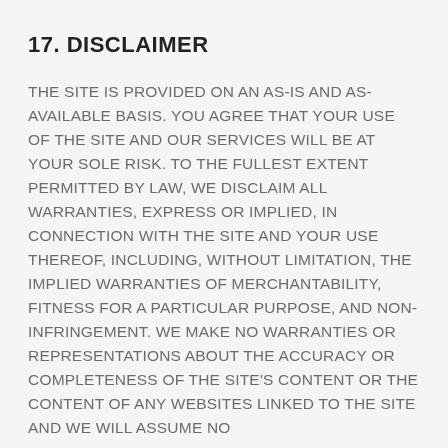17. DISCLAIMER
THE SITE IS PROVIDED ON AN AS-IS AND AS-AVAILABLE BASIS. YOU AGREE THAT YOUR USE OF THE SITE AND OUR SERVICES WILL BE AT YOUR SOLE RISK. TO THE FULLEST EXTENT PERMITTED BY LAW, WE DISCLAIM ALL WARRANTIES, EXPRESS OR IMPLIED, IN CONNECTION WITH THE SITE AND YOUR USE THEREOF, INCLUDING, WITHOUT LIMITATION, THE IMPLIED WARRANTIES OF MERCHANTABILITY, FITNESS FOR A PARTICULAR PURPOSE, AND NON-INFRINGEMENT. WE MAKE NO WARRANTIES OR REPRESENTATIONS ABOUT THE ACCURACY OR COMPLETENESS OF THE SITE'S CONTENT OR THE CONTENT OF ANY WEBSITES LINKED TO THE SITE AND WE WILL ASSUME NO